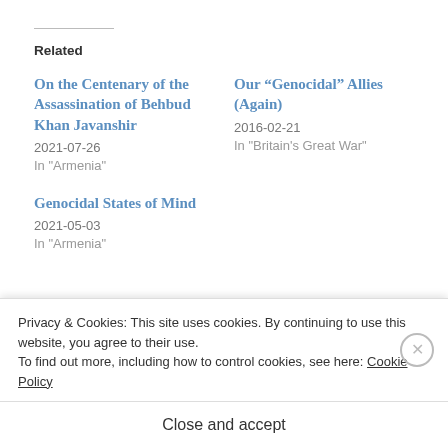Related
On the Centenary of the Assassination of Behbud Khan Javanshir
2021-07-26
In "Armenia"
Our “Genocidal” Allies (Again)
2016-02-21
In "Britain's Great War"
Genocidal States of Mind
2021-05-03
In "Armenia"
[Figure (screenshot): Bottom navigation bar with three category links: BRITAIN'S GREAT WAR, GEOPOLITICS, GERMANY on dark navy background]
Privacy & Cookies: This site uses cookies. By continuing to use this website, you agree to their use.
To find out more, including how to control cookies, see here: Cookie Policy
Close and accept